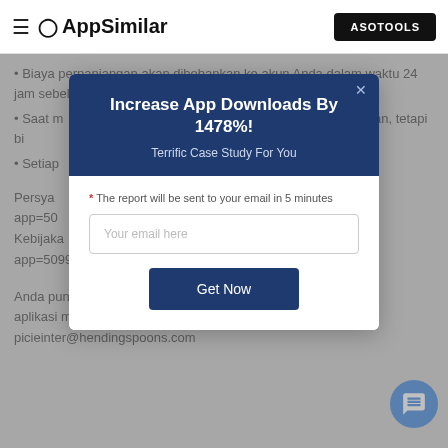AppSimilar | ASOTOOLS
• Biaya perpanjangan akan dibebankan ke akun Anda dalam waktu 24 jam sebelum akhir periode saat ini.
• Saat m... tif sampai... ifkan, tetapi bi...
• Setiap... warkan, akan hil...
[Figure (screenshot): Modal popup with dark blue header reading 'Increase App Downloads By 1478%!' and subtitle 'Terrific Case Study For You', containing an email input field with placeholder 'Your email here', a note '* The report will be sent to your email in 5 minutes', and a 'Get Now' button. A close (x) button is in the top right of the modal.]
Persya... app=50... Kebijaka... app=509987785
Anda punya permintaan fitur yang ingin Anda lihat pada ver... aplikasi mendatang? Jangan ragu untuk menghubungi kami d... picieinter@hendingspoons.com